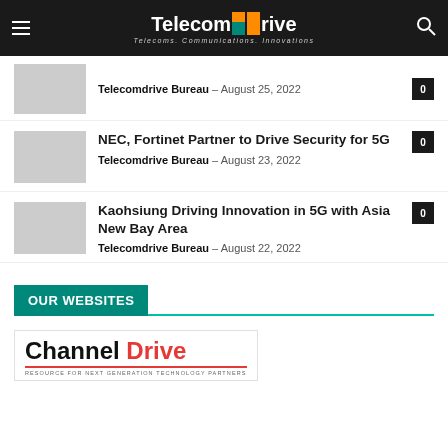Telecom Drive — Telecoms. Communications. Innovations.
Telecomdrive Bureau – August 25, 2022   0
NEC, Fortinet Partner to Drive Security for 5G
Telecomdrive Bureau – August 23, 2022   0
Kaohsiung Driving Innovation in 5G with Asia New Bay Area
Telecomdrive Bureau – August 22, 2022   0
OUR WEBSITES
[Figure (logo): Channel Drive logo — Resource for Next Generation Technology Partners]